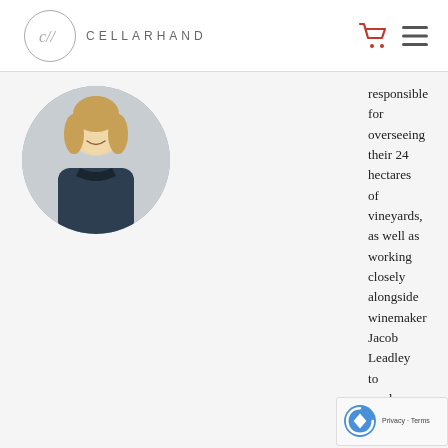CELLARHAND
[Figure (photo): Circular portrait photo of a young woman with blonde hair wearing a dark navy polo shirt with a logo, standing outdoors in front of a wooden structure.]
responsible for overseeing their 24 hectares of vineyards, as well as working closely alongside winemaker Jacob Leadley to produce their award-winning sparkling wines. Emma was instrumental in the creation of Hattingley Valley, helping to design the winery and sourcing all the equipment. In addition to her winemaking responsibilities Emma runs an on-site wine analysis laboratory, Custom Crush UK Ltd, which offers oenological services to the growing English wine industry.
Emma's interest in wine stemmed from working part-time at a pub during her studies. It was a double magnum of Krug 1... however, that really piqued her interest. Her wine career commenced in retail before joining the sales and marketing at a London-based importer. The pivotal point of her career was